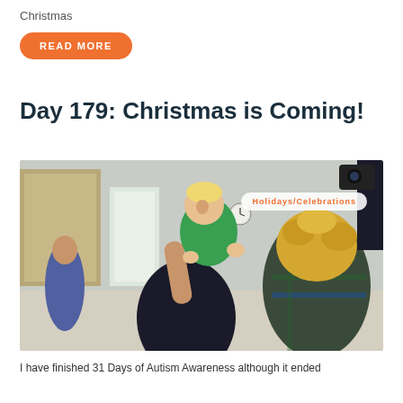Christmas
Read More
Day 179: Christmas is Coming!
[Figure (photo): A toddler in a green shirt being held up and laughing, reaching toward another child with curly blonde hair. Scene appears to be in a school or community center hallway. A tag reading 'Holidays/Celebrations' overlays the upper right of the photo.]
I have finished 31 Days of Autism Awareness although it ended